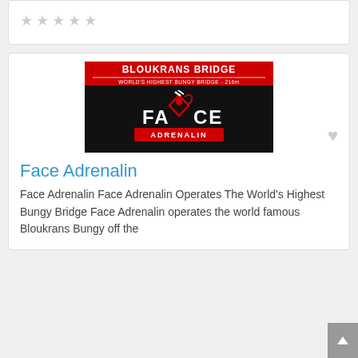[Figure (other): Five empty star rating icons in light grey]
[Figure (logo): Face Adrenalin / Bloukrans Bridge logo: red banner with white text BLOUKRANS BRIDGE and WORLD'S HIGHEST BUNGY BRIDGE - 216m, black background with stylized FACE logo and red ADRENALIN banner]
Face Adrenalin
Face Adrenalin Face Adrenalin Operates The World's Highest Bungy Bridge Face Adrenalin operates the world famous Bloukrans Bungy off the